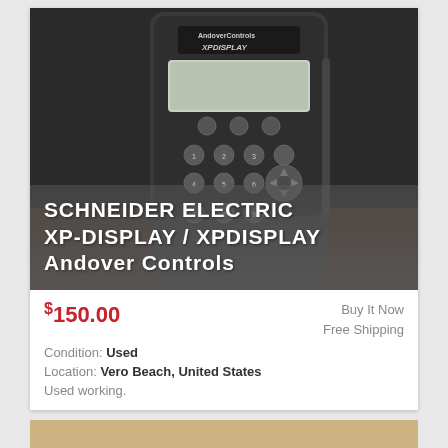[Figure (photo): Photo of an Andover Controls XP-Display keypad device — a dark gray handheld unit with a rectangular LCD screen at the top and a numeric keypad with navigation buttons below. The brand label reads 'AndoverControls XPDisplay'.]
SCHNEIDER ELECTRIC XP-DISPLAY / XPDISPLAY Andover Controls
$150.00
Buy It Now
Free Shipping
Condition: Used
Location: Vero Beach, United States
Used working.